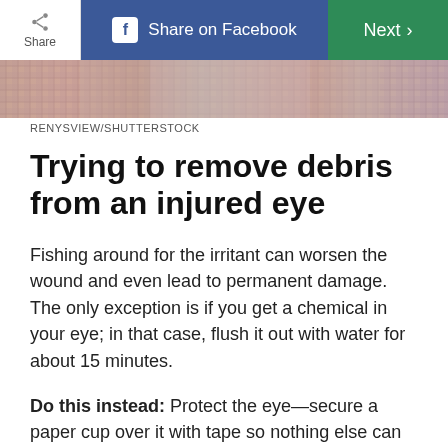Share | Share on Facebook | Next
[Figure (photo): Top portion of a photo showing a person in plaid/checkered clothing against a textured background, cropped to a strip]
RENYSVIEW/SHUTTERSTOCK
Trying to remove debris from an injured eye
Fishing around for the irritant can worsen the wound and even lead to permanent damage. The only exception is if you get a chemical in your eye; in that case, flush it out with water for about 15 minutes.
Do this instead: Protect the eye—secure a paper cup over it with tape so nothing else can get in—and seek immediate care.